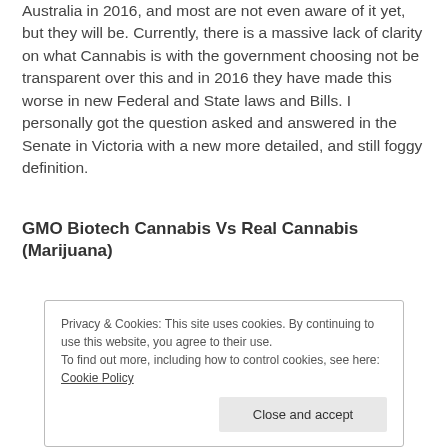Australia in 2016, and most are not even aware of it yet, but they will be. Currently, there is a massive lack of clarity on what Cannabis is with the government choosing not be transparent over this and in 2016 they have made this worse in new Federal and State laws and Bills. I personally got the question asked and answered in the Senate in Victoria with a new more detailed, and still foggy definition.
GMO Biotech Cannabis Vs Real Cannabis (Marijuana)
Privacy & Cookies: This site uses cookies. By continuing to use this website, you agree to their use.
To find out more, including how to control cookies, see here: Cookie Policy